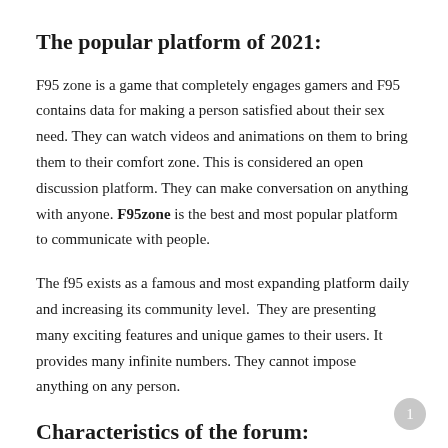The popular platform of 2021:
F95 zone is a game that completely engages gamers and F95 contains data for making a person satisfied about their sex need. They can watch videos and animations on them to bring them to their comfort zone. This is considered an open discussion platform. They can make conversation on anything with anyone. F95zone is the best and most popular platform to communicate with people.
The f95 exists as a famous and most expanding platform daily and increasing its community level.  They are presenting many exciting features and unique games to their users. It provides many infinite numbers. They cannot impose anything on any person.
Characteristics of the forum: